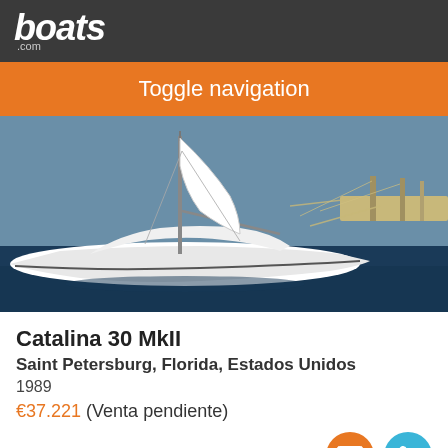boats .com
Toggle navigation
[Figure (photo): White sailboat docked at a marina, view of hull and mast with water in the background]
Catalina 30 MkII
Saint Petersburg, Florida, Estados Unidos
1989
€37.221 (Venta pendiente)
Vendedor Windswept Yacht Sales
[Figure (photo): Bottom preview strip showing partial boat images with camera icon and number 45]
Ordenar Por
Filtrar barcos por